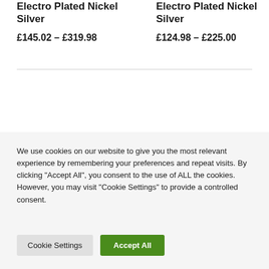Electro Plated Nickel Silver
£145.02 – £319.98
Electro Plated Nickel Silver
£124.98 – £225.00
We use cookies on our website to give you the most relevant experience by remembering your preferences and repeat visits. By clicking "Accept All", you consent to the use of ALL the cookies. However, you may visit "Cookie Settings" to provide a controlled consent.
Cookie Settings
Accept All